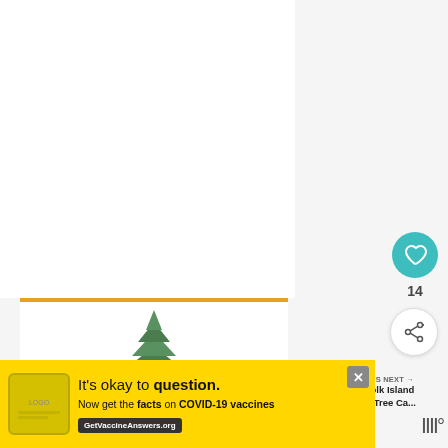[Figure (photo): Young pine tree sapling with green needles on white background, shown in an image card with orange top border]
[Figure (infographic): Heart/like button (teal circle with heart icon) showing 14 likes, and a share button below it]
WHAT'S NEXT →
Norfolk Island Pine Tree Ca...
[Figure (photo): Thumbnail of Norfolk Island Pine tree against sky]
It's okay to question. Now get the facts on COVID-19 vaccines GetVaccineAnswers.org
14